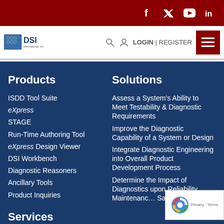Social icons: f, twitter, youtube, in
DSI International Inc logo | LOGIN | REGISTER | menu
Products
ISDD Tool Suite
eXpress
STAGE
Run-Time Authoring Tool
eXpress Design Viewer
DSI Workbench
Diagnostic Reasoners
Ancillary Tools
Product Inquiries
Services
Training
Engineering Support
Solutions
Assess a System’s Ability to Meet Testability & Diagnostic Requirements
Improve the Diagnostic Capability of a System or Design
Integrate Diagnostic Engineering into Overall Product Development Process
Determine the Impact of Diagnostics upon Reliability, Maintenance, Safety